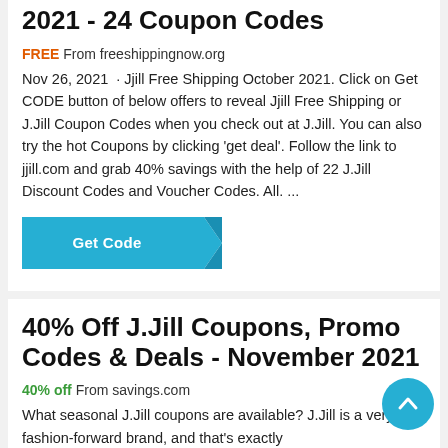2021 - 24 Coupon Codes
FREE From freeshippingnow.org
Nov 26, 2021 · Jjill Free Shipping October 2021. Click on Get CODE button of below offers to reveal Jjill Free Shipping or J.Jill Coupon Codes when you check out at J.Jill. You can also try the hot Coupons by clicking 'get deal'. Follow the link to jjill.com and grab 40% savings with the help of 22 J.Jill Discount Codes and Voucher Codes. All. ...
[Figure (other): Get Code button with teal background and arrow shape]
40% Off J.Jill Coupons, Promo Codes & Deals - November 2021
40% off From savings.com
What seasonal J.Jill coupons are available? J.Jill is a very fashion-forward brand, and that's exactly